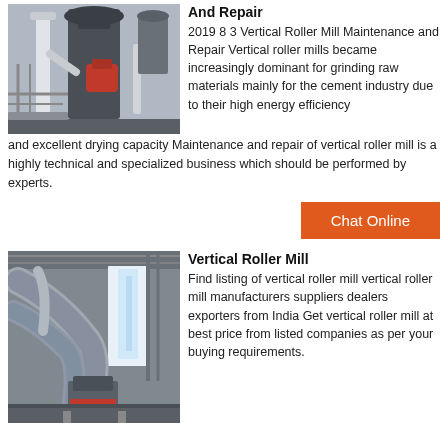[Figure (photo): Industrial vertical roller mill with red machinery component, pipes and steel structure in an industrial facility.]
And Repair
2019 8 3 Vertical Roller Mill Maintenance and Repair Vertical roller mills became increasingly dominant for grinding raw materials mainly for the cement industry due to their high energy efficiency and excellent drying capacity Maintenance and repair of vertical roller mill is a highly technical and specialized business which should be performed by experts.
Chat Online
[Figure (photo): Interior of an industrial facility showing large pipes, ductwork, and vertical roller mill equipment with natural light coming through windows.]
Vertical Roller Mill
Find listing of vertical roller mill vertical roller mill manufacturers suppliers dealers exporters from India Get vertical roller mill at best price from listed companies as per your buying requirements.